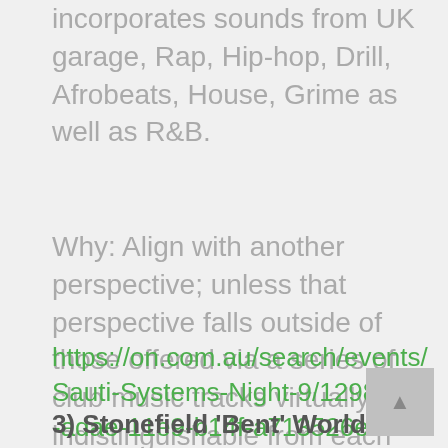incorporates sounds from UK garage, Rap, Hip-hop, Drill, Afrobeats, House, Grime as well as R&B.
Why: Align with another perspective; unless that perspective falls outside of those offered via a series of club music tracks virtually indistinguishable from each other.
https://on.com.au/search/events/Sauti-Systems-Night-9/1298f680-adae-11e9-b14f-a713526e5192
3) Stonefield 'Bent' World